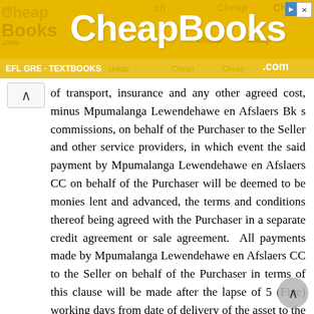[Figure (other): CheapBooks.com advertisement banner with yellow background, large white bold 'CheapBooks' text, and 'EFL GRE · TEXTBOOKS' subtitle text at bottom]
of transport, insurance and any other agreed cost, minus Mpumalanga Lewendehawe en Afslaers Bk s commissions, on behalf of the Purchaser to the Seller and other service providers, in which event the said payment by Mpumalanga Lewendehawe en Afslaers CC on behalf of the Purchaser will be deemed to be monies lent and advanced, the terms and conditions thereof being agreed with the Purchaser in a separate credit agreement or sale agreement. All payments made by Mpumalanga Lewendehawe en Afslaers CC to the Seller on behalf of the Purchaser in terms of this clause will be made after the lapse of 5 (Five) working days from date of delivery of the asset to the Purchaser. Any payment made by Mpumalanga Lewendehawe en Afslaers CC to the Seller prior to the lapse of the 5 (Five) working day period is made at the sole discretion of Mpumalanga Lewendehawe en Afslaers CC and not an enforceable indulgence. 20. For as long as any amount is owing to Mpumalanga Lewendehawe en Afslaers CC by the Purchaser, the